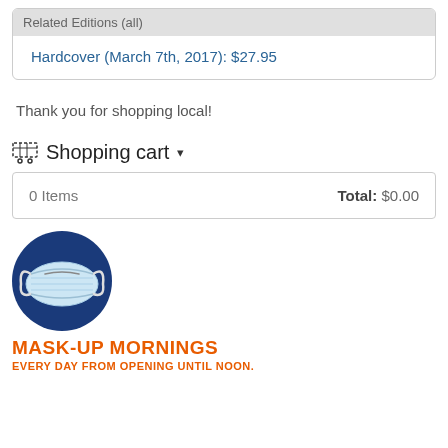Related Editions (all)
Hardcover (March 7th, 2017): $27.95
Thank you for shopping local!
Shopping cart
| 0 Items | Total: $0.00 |
[Figure (illustration): A blue circular badge containing an illustration of a surgical/face mask]
MASK-UP MORNINGS
EVERY DAY FROM OPENING UNTIL NOON.